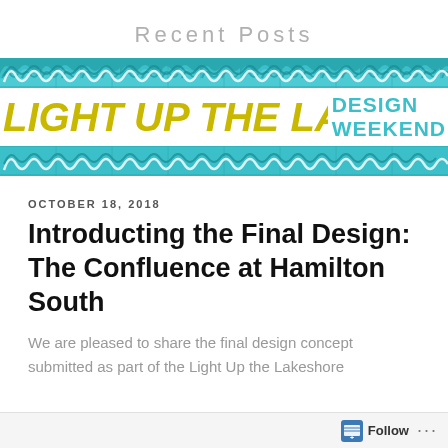Recent Posts
[Figure (illustration): Light Up the Lakeshore Design Weekend banner with teal wave patterns on top and bottom, and large yellow-green italic bold text reading 'LIGHT UP THE LAKESHORE' with teal bold text 'DESIGN WEEKEND' on the right side.]
OCTOBER 18, 2018
Introducting the Final Design: The Confluence at Hamilton South
We are pleased to share the final design concept submitted as part of the Light Up the Lakeshore
Follow ...